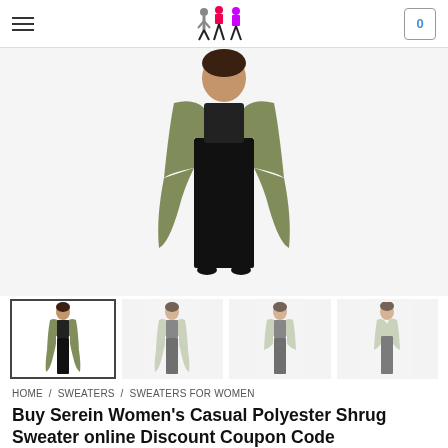Navigation bar with hamburger menu, fashion logo, and cart button showing 0
[Figure (photo): Main product photo showing a woman wearing an olive green Serein Casual Polyester Shrug Sweater over a black outfit]
[Figure (photo): Thumbnail strip showing 4 product images of the same Serein Shrug Sweater from different angles]
HOME / SWEATERS / SWEATERS FOR WOMEN
Buy Serein Women's Casual Polyester Shrug Sweater online Discount Coupon Code
Navigation arrows (left and right)
₹324